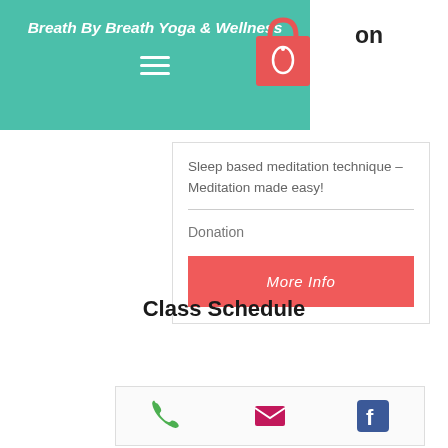Breath By Breath Yoga & Wellness
Sleep based meditation technique - Meditation made easy!
Donation
More Info
Class Schedule
[Figure (infographic): Footer bar with phone, email, and Facebook icons]